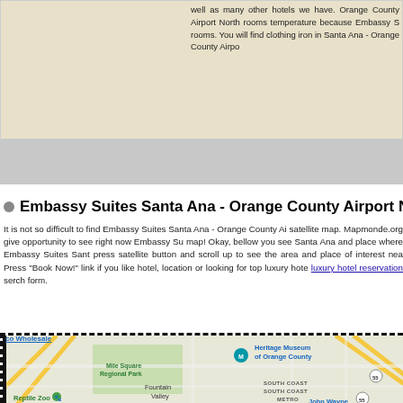well as many other hotels we have... Orange County Airport North rooms temperature because Embassy S rooms. You will find clothing iron in Santa Ana - Orange County Airpo
Embassy Suites Santa Ana - Orange County Airport N
It is not so difficult to find Embassy Suites Santa Ana - Orange County Ai satellite map. Mapmonde.org give opportunity to see right now Embassy Su map! Okay, bellow you see Santa Ana and place where Embassy Suites Sant press satellite button and scroll up to see the area and place of interest nea Press "Book Now!" link if you like hotel, location or looking for top luxury hote luxury hotel reservation serch form.
[Figure (map): Google satellite/street map showing area around Embassy Suites Santa Ana - Orange County Airport. Shows Mile Square Regional Park, Fountain Valley, Heritage Museum of Orange County, South Coast Metro area, Reptile Zoo, John Wayne Airport vicinity, and highway 55.]